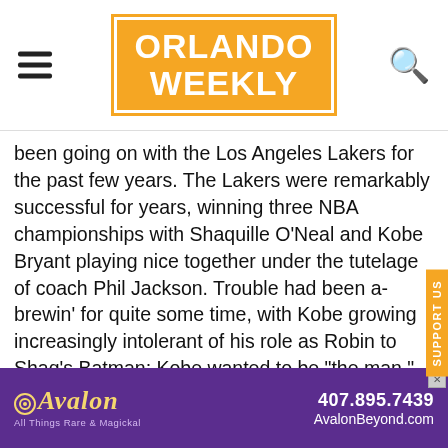Orlando Weekly
been going on with the Los Angeles Lakers for the past few years. The Lakers were remarkably successful for years, winning three NBA championships with Shaquille O'Neal and Kobe Bryant playing nice together under the tutelage of coach Phil Jackson. Trouble had been a-brewin' for quite some time, with Kobe growing increasingly intolerant of his role as Robin to Shaq's Batman; Kobe wanted to be "the man," and was willing to sacrifice winning for the privilege. Accordingly, Kobe single-handedly did his best to implode the Lakers, by running both Jackson and Shaq out of town. (The Lakers refused to renew Phil's contract; Shaq wound up getting traded to the Miami Heat.) One might think that Kobe got his fill of negative publicity via his rape trial, but
[Figure (advertisement): Avalon advertisement with phone number 407.895.7439 and website AvalonBeyond.com on purple background]